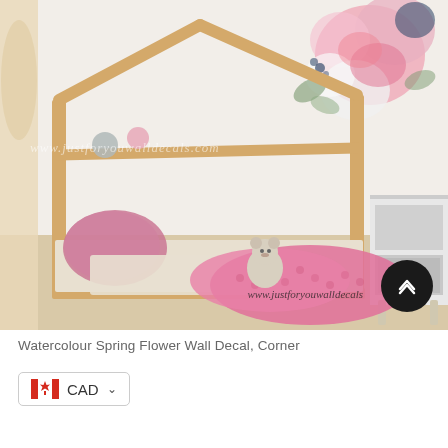[Figure (photo): Product photo showing a children's bedroom with a wooden house-shaped floor bed frame, pink knit blanket, teddy bear, pink pillow, and watercolour spring flower wall decal in the corner. Watermark text 'www.justforyouwalldecals.com' overlaid on image.]
Watercolour Spring Flower Wall Decal, Corner
CAD